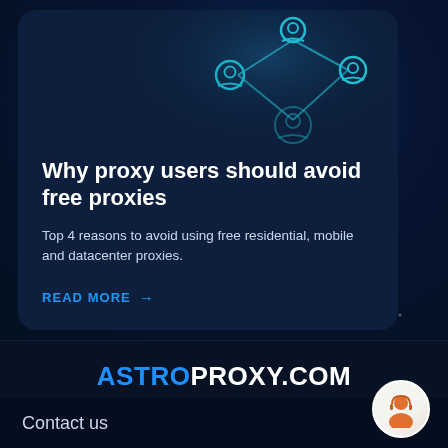[Figure (illustration): Teal network/social connection icon with person silhouettes connected by lines, shown in card header area]
Why proxy users should avoid free proxies
Top 4 reasons to avoid using free residential, mobile and datacenter proxies.
READ MORE →
ASTROPROXY.COM
ENTERPRISE DATA GATHERING INFRASTRUCTURE
Contact us